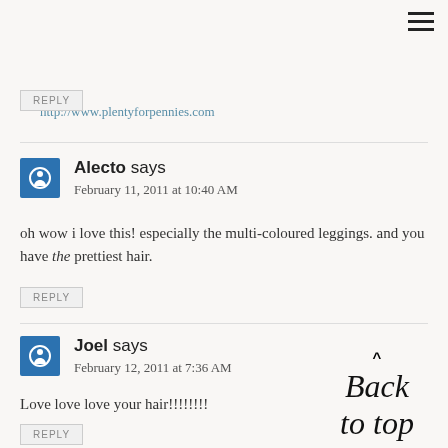http://www.plentyforpennies.com
REPLY
Alecto says
February 11, 2011 at 10:40 AM
oh wow i love this! especially the multi-coloured leggings. and you have the prettiest hair.
REPLY
Joel says
February 12, 2011 at 7:36 AM
Love love love your hair!!!!!!!!
REPLY
[Figure (illustration): Back to top button with handwritten-style cursive text reading 'Back to top' with a caret/arrow above it]